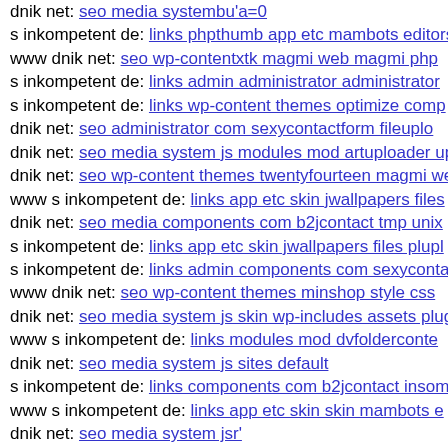dnik net: seo media systembu'a=0
s inkompetent de: links phpthumb app etc mambots editors
www dnik net: seo wp-contentxtk magmi web magmi php
s inkompetent de: links admin administrator administrator
s inkompetent de: links wp-content themes optimize comp
dnik net: seo administrator com sexycontactform fileuplo
dnik net: seo media system js modules mod artuploader up
dnik net: seo wp-content themes twentyfourteen magmi we
www s inkompetent de: links app etc skin jwallpapers files
dnik net: seo media components com b2jcontact tmp unix
s inkompetent de: links app etc skin jwallpapers files plupl
s inkompetent de: links admin components com sexyconta
www dnik net: seo wp-content themes minshop style css
dnik net: seo media system js skin wp-includes assets plug
www s inkompetent de: links modules mod dvfolderconte
dnik net: seo media system js sites default
s inkompetent de: links components com b2jcontact insom
www s inkompetent de: links app etc skin skin mambots e
dnik net: seo media system jsr'
dnik net: seo wp-content themes administration tmp compe